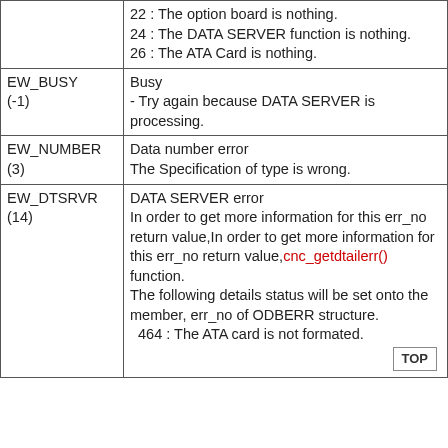| Error Code | Description |
| --- | --- |
|  | 22 : The option board is nothing.
24 : The DATA SERVER function is nothing.
26 : The ATA Card is nothing. |
| EW_BUSY
(-1) | Busy
- Try again because DATA SERVER is processing. |
| EW_NUMBER
(3) | Data number error
The Specification of type is wrong. |
| EW_DTSRVR
(14) | DATA SERVER error
In order to get more information for this err_no return value,In order to get more information for this err_no return value, cnc_getdtailerr() function.
The following details status will be set onto the member, err_no of ODBERR structure.
464 : The ATA card is not formated. |